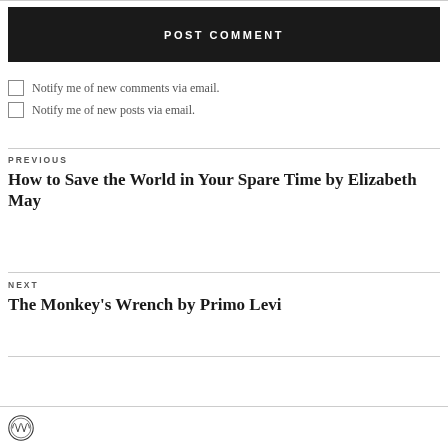POST COMMENT
Notify me of new comments via email.
Notify me of new posts via email.
PREVIOUS
How to Save the World in Your Spare Time by Elizabeth May
NEXT
The Monkey's Wrench by Primo Levi
[Figure (logo): WordPress logo icon]